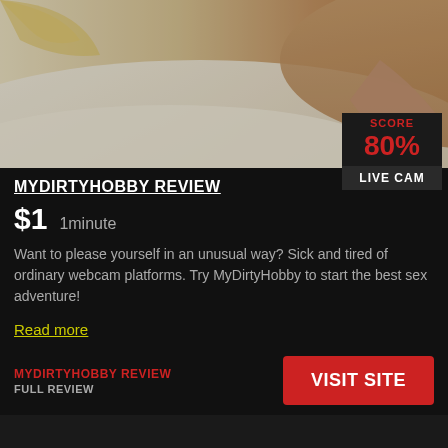[Figure (photo): Woman lying on white sheets, partial view of blonde woman on bed]
MYDIRTYHOBBY REVIEW
$1  1minute
Want to please yourself in an unusual way? Sick and tired of ordinary webcam platforms. Try MyDirtyHobby to start the best sex adventure!
Read more
MYDIRTYHOBBY REVIEW
FULL REVIEW
VISIT SITE